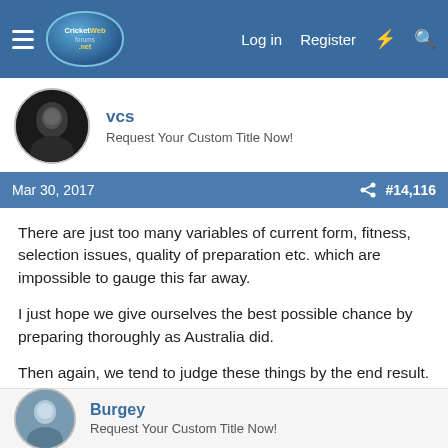CricketWeb.net — Log in  Register
vcs
Request Your Custom Title Now!
Mar 30, 2017  #14,116
There are just too many variables of current form, fitness, selection issues, quality of preparation etc. which are impossible to gauge this far away.

I just hope we give ourselves the best possible chance by preparing thoroughly as Australia did.

Then again, we tend to judge these things by the end result. If they'd got smashed 4-0, we'd probably be questioning whether holding a preparation camp in Dubai was a wise move.
Burgey
Request Your Custom Title Now!